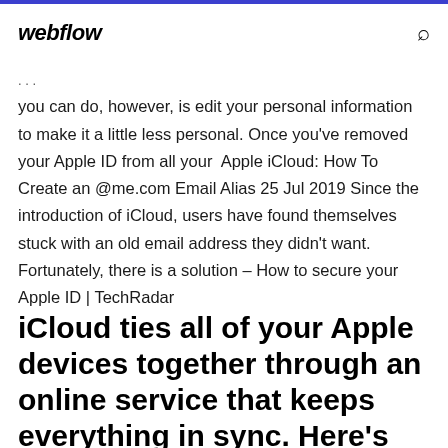webflow
... you can do, however, is edit your personal information to make it a little less personal. Once you've removed your Apple ID from all your  Apple iCloud: How To Create an @me.com Email Alias 25 Jul 2019 Since the introduction of iCloud, users have found themselves stuck with an old email address they didn't want. Fortunately, there is a solution – How to secure your Apple ID | TechRadar
iCloud ties all of your Apple devices together through an online service that keeps everything in sync. Here's what